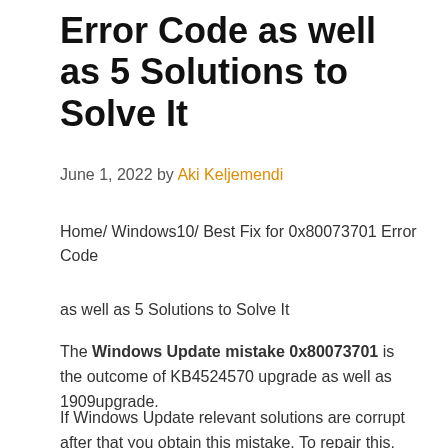Error Code as well as 5 Solutions to Solve It
June 1, 2022 by Aki Keljemendi
Home/ Windows10/ Best Fix for 0x80073701 Error Code
as well as 5 Solutions to Solve It
The Windows Update mistake 0x80073701 is the outcome of KB4524570 upgrade as well as 1909upgrade.
If Windows Update relevant solutions are corrupt after that you obtain this mistake. To repair this, you require to quit those